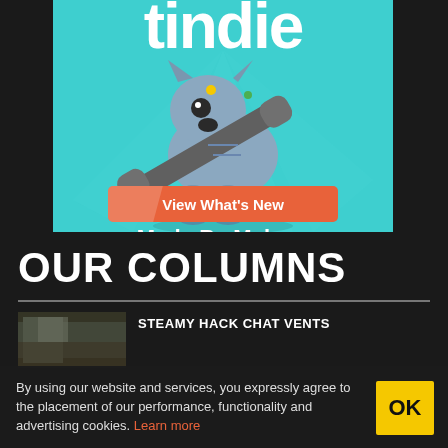[Figure (illustration): Tindie advertisement banner showing a robot dog holding a wrench on a teal background, with text 'tindie' at top, 'Made By Makers' and a coral 'View What's New' button]
OUR COLUMNS
[Figure (photo): Thumbnail image for a columns section, partially visible]
STEAMY HACK CHAT VENTS
By using our website and services, you expressly agree to the placement of our performance, functionality and advertising cookies. Learn more